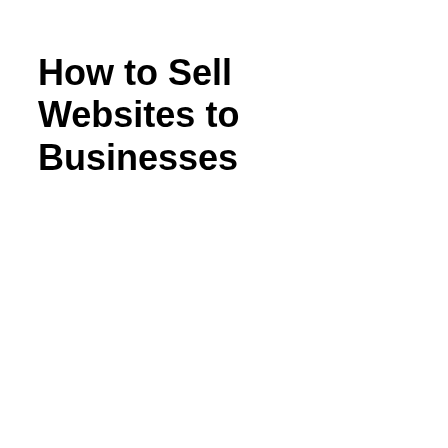How to Sell Websites to Businesses